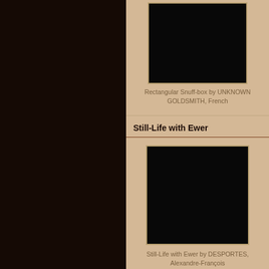[Figure (photo): Black rectangular image placeholder representing Rectangular Snuff-box artwork]
Rectangular Snuff-box by UNKNOWN GOLDSMITH, French
Still-Life with Ewer
[Figure (photo): Black square image placeholder representing Still-Life with Ewer artwork]
Still-Life with Ewer by DESPORTES, Alexandre-François